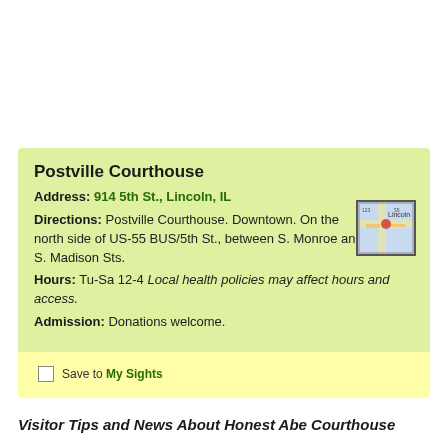Postville Courthouse
Address: 914 5th St., Lincoln, IL
Directions: Postville Courthouse. Downtown. On the north side of US-55 BUS/5th St., between S. Monroe and S. Madison Sts.
Hours: Tu-Sa 12-4 Local health policies may affect hours and access.
Admission: Donations welcome.
[Figure (map): Small thumbnail map showing location near Lincoln, IL]
Save to My Sights
Visitor Tips and News About Honest Abe Courthouse
Reports and tips from RoadsideAmerica.com visitors and Roadside